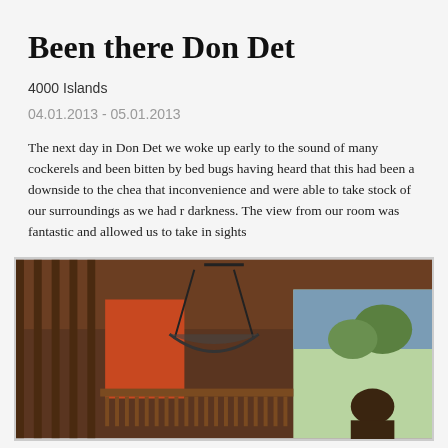Been there Don Det
4000 Islands
04.01.2013 - 05.01.2013
The next day in Don Det we woke up early to the sound of many cockerels and been bitten by bed bugs having heard that this had been a downside to the chea that inconvenience and were able to take stock of our surroundings as we had r darkness. The view from our room was fantastic and allowed us to take in sights
[Figure (photo): Interior photo of a wooden bungalow/guesthouse in Don Det with a hammock hanging and view outside to greenery, with a person sitting in the foreground]